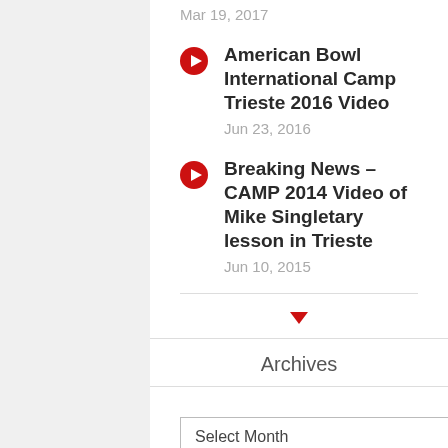Mar 19, 2017
American Bowl International Camp Trieste 2016 Video
Jun 23, 2016
Breaking News – CAMP 2014 Video of Mike Singletary lesson in Trieste
Jun 10, 2015
Archives
Select Month
Categories